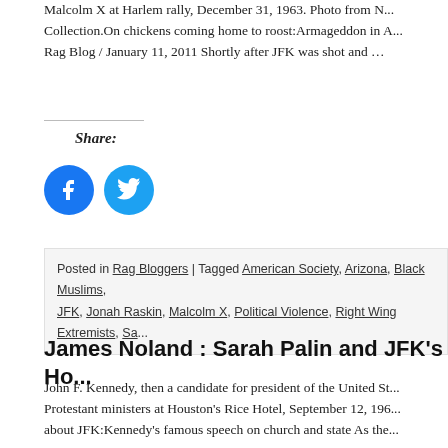Malcolm X at Harlem rally, December 31, 1963. Photo from N... Collection.On chickens coming home to roost:Armageddon in A... Rag Blog / January 11, 2011 Shortly after JFK was shot and …
Share:
[Figure (illustration): Facebook and Twitter social share icon buttons (blue circles with white icons)]
Posted in Rag Bloggers | Tagged American Society, Arizona, Black Muslims, JFK, Jonah Raskin, Malcolm X, Political Violence, Right Wing Extremists, Sa...
James Noland : Sarah Palin and JFK's Ho...
John F. Kennedy, then a candidate for president of the United S... Protestant ministers at Houston's Rice Hotel, September 12, 196... about JFK:Kennedy's famous speech on church and state As the...